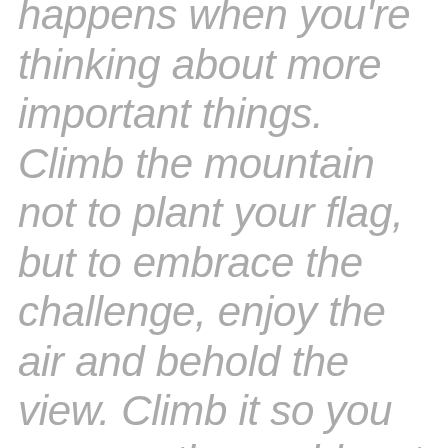happens when you're thinking about more important things. Climb the mountain not to plant your flag, but to embrace the challenge, enjoy the air and behold the view. Climb it so you can see the world, not so the world can see you. Go to Paris to be in Paris,